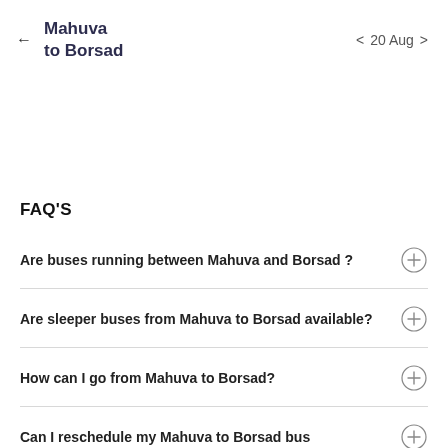← Mahuva to Borsad   < 20 Aug >
FAQ'S
Are buses running between Mahuva and Borsad ?
Are sleeper buses from Mahuva to Borsad available?
How can I go from Mahuva to Borsad?
Can I reschedule my Mahuva to Borsad bus